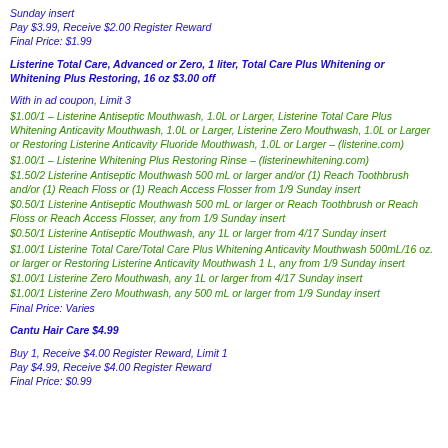Sunday insert
Pay $3.99, Receive $2.00 Register Reward
Final Price:  $1.99
Listerine Total Care, Advanced or Zero, 1 liter, Total Care Plus Whitening or Whitening Plus Restoring, 16 oz $3.00 off
With in ad coupon, Limit 3
$1.00/1 – Listerine Antiseptic Mouthwash, 1.0L or Larger, Listerine Total Care Plus Whitening Anticavity Mouthwash, 1.0L or Larger, Listerine Zero Mouthwash, 1.0L or Larger or Restoring Listerine Anticavity Fluoride Mouthwash, 1.0L or Larger – (listerine.com)
$1.00/1 – Listerine Whitening Plus Restoring Rinse – (listerinewhitening.com)
$1.50/2 Listerine Antiseptic Mouthwash 500 mL or larger and/or (1) Reach Toothbrush and/or (1) Reach Floss or (1) Reach Access Flosser from  1/9 Sunday insert
$0.50/1 Listerine Antiseptic Mouthwash 500 mL or larger or Reach Toothbrush or Reach Floss or Reach Access Flosser, any from 1/9 Sunday insert
$0.50/1 Listerine Antiseptic Mouthwash, any 1L or larger from 4/17 Sunday insert
$1.00/1 Listerine Total Care/Total Care Plus Whitening Anticavity Mouthwash 500mL/16 oz. or larger or Restoring Listerine Anticavity Mouthwash 1 L, any from 1/9 Sunday insert
$1.00/1 Listerine Zero Mouthwash, any 1L or larger from 4/17 Sunday insert
$1.00/1 Listerine Zero Mouthwash, any 500 mL or larger from 1/9 Sunday insert
Final Price:  Varies
Cantu Hair Care $4.99
Buy 1, Receive $4.00 Register Reward, Limit 1
Pay $4.99, Receive $4.00 Register Reward
Final Price: $0.99